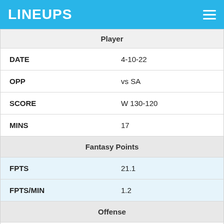LINEUPS
| Category | Player |
| --- | --- |
| DATE | 4-10-22 |
| OPP | vs SA |
| SCORE | W 130-120 |
| MINS | 17 |
| Fantasy Points |  |
| FPTS | 21.1 |
| FPTS/MIN | 1.2 |
| Offense |  |
| PTS | 8 |
| AST | 5 |
| FGM | 3 |
| FGA | 7 |